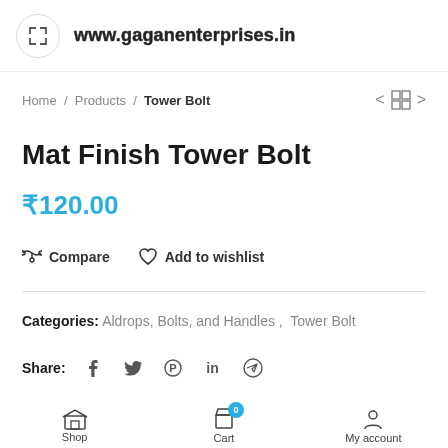www.gaganenterprises.in
Home / Products / Tower Bolt
Mat Finish Tower Bolt
₹120.00
Compare   Add to wishlist
Categories: Aldrops, Bolts, and Handles , Tower Bolt
Share:
Shop   Cart   My account